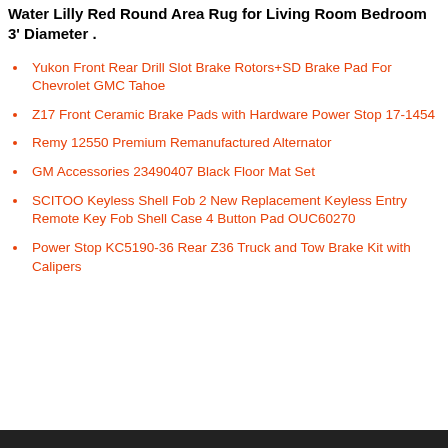Water Lilly Red Round Area Rug for Living Room Bedroom 3' Diameter .
Yukon Front Rear Drill Slot Brake Rotors+SD Brake Pad For Chevrolet GMC Tahoe
Z17 Front Ceramic Brake Pads with Hardware Power Stop 17-1454
Remy 12550 Premium Remanufactured Alternator
GM Accessories 23490407 Black Floor Mat Set
SCITOO Keyless Shell Fob 2 New Replacement Keyless Entry Remote Key Fob Shell Case 4 Button Pad OUC60270
Power Stop KC5190-36 Rear Z36 Truck and Tow Brake Kit with Calipers